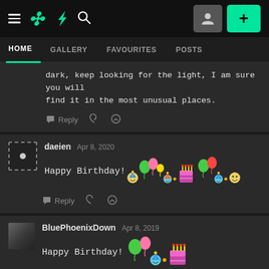HOME | GALLERY | FAVOURITES | POSTS
dark, keep looking for the light, I am sure you will find it in the most unusual places.
daeien  Apr 8, 2020
Happy Birthday! [emojis]
BluePhoenixDown  Apr 8, 2019
Happy Birthday! [emojis]